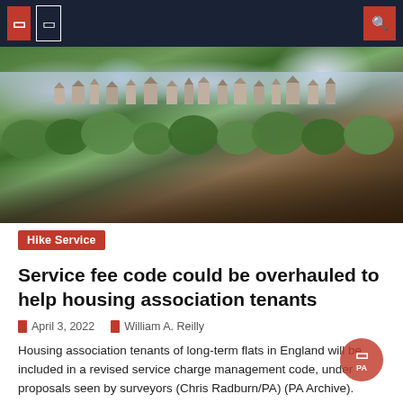Navigation bar with menu icons and search
[Figure (photo): Aerial view of a residential area in England showing rows of houses and rooftops surrounded by trees]
Hike Service
Service fee code could be overhauled to help housing association tenants
April 3, 2022   William A. Reilly
Housing association tenants of long-term flats in England will be included in a revised service charge management code, under proposals seen by surveyors (Chris Radburn/PA) (PA Archive). Housing association tenants of long-term flats in